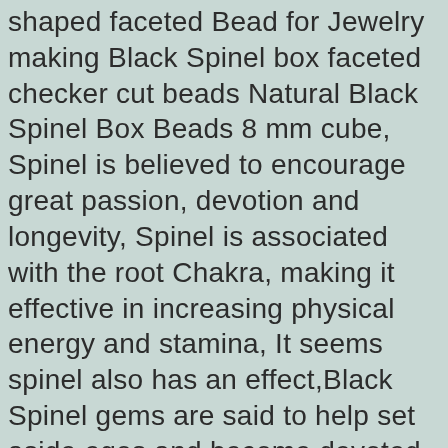shaped faceted Bead for Jewelry making Black Spinel box faceted checker cut beads Natural Black Spinel Box Beads 8 mm cube, Spinel is believed to encourage great passion, devotion and longevity, Spinel is associated with the root Chakra, making it effective in increasing physical energy and stamina, It seems spinel also has an effect,Black Spinel gems are said to help set aside egos and become devoted to another person,Wholesale Online,Fantastic Wholesale Prices,time limit of 50% discount,Online watch shopping,with lowest price and comfort guarantee., making Black Spinel box faceted checker cut beads Natural Black Spinel Box